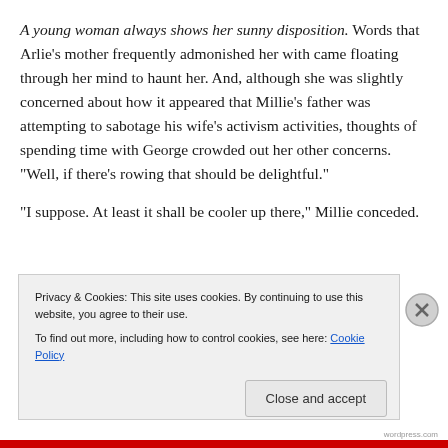A young woman always shows her sunny disposition. Words that Arlie's mother frequently admonished her with came floating through her mind to haunt her. And, although she was slightly concerned about how it appeared that Millie's father was attempting to sabotage his wife's activism activities, thoughts of spending time with George crowded out her other concerns. “Well, if there’s rowing that should be delightful.”
“I suppose. At least it shall be cooler up there,” Millie conceded.
Privacy & Cookies: This site uses cookies. By continuing to use this website, you agree to their use.
To find out more, including how to control cookies, see here: Cookie Policy